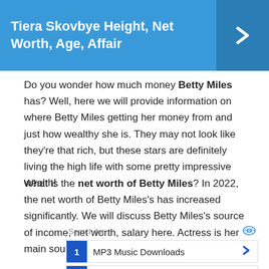Tiera Skovbye Height, Net Worth, Age, Affair
Do you wonder how much money Betty Miles has? Well, here we will provide information on where Betty Miles getting her money from and just how wealthy she is. They may not look like they're that rich, but these stars are definitely living the high life with some pretty impressive wealth!
What is the net worth of Betty Miles? In 2022, the net worth of Betty Miles's has increased significantly. We will discuss Betty Miles's source of income, net worth, salary here. Actress is her main source of income.
[Figure (infographic): Search ad box with two rows: 1. MP3 Music Downloads, 2. Luxury Cars]